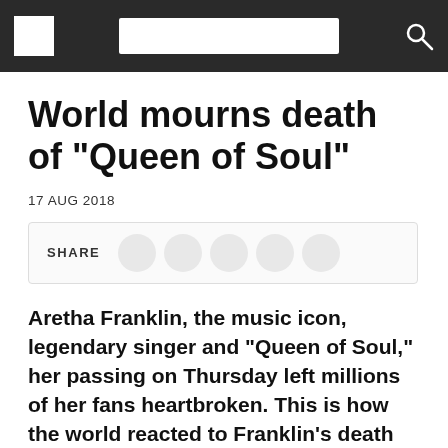Navigation bar with logo, search box, and search icon
World mourns death of "Queen of Soul"
17 AUG 2018
[Figure (other): Social share bar with SHARE label and five circular share buttons]
Aretha Franklin, the music icon, legendary singer and "Queen of Soul," her passing on Thursday left millions of her fans heartbroken. This is how the world reacted to Franklin's death
[Figure (other): Image placeholder at bottom of article]